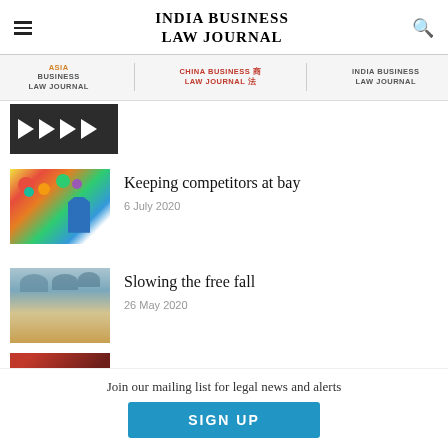INDIA BUSINESS LAW JOURNAL
[Figure (logo): Asia Business Law Journal, China Business Law Journal, India Business Law Journal navigation logos]
[Figure (photo): Video thumbnail with play arrows on dark background (partially visible, top of page)]
[Figure (photo): Colorful figurines on a white surface - competitors illustration]
Keeping competitors at bay
6 July 2020
[Figure (photo): Parachutes descending over a desert landscape - free fall illustration]
Slowing the free fall
26 May 2020
[Figure (photo): Partially visible article thumbnail at bottom of page]
Join our mailing list for legal news and alerts
SIGN UP